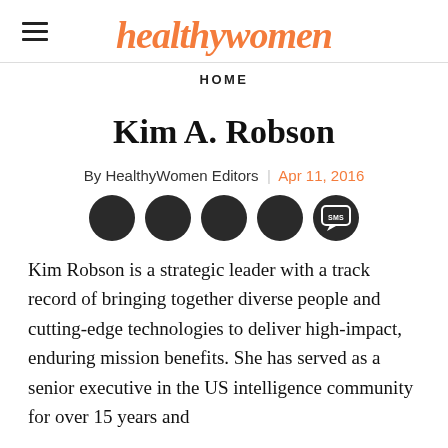healthywomen
HOME
Kim A. Robson
By HealthyWomen Editors | Apr 11, 2016
[Figure (other): Social sharing icon buttons: four dark circular icons and one SMS speech bubble icon]
Kim Robson is a strategic leader with a track record of bringing together diverse people and cutting-edge technologies to deliver high-impact, enduring mission benefits. She has served as a senior executive in the US intelligence community for over 15 years and